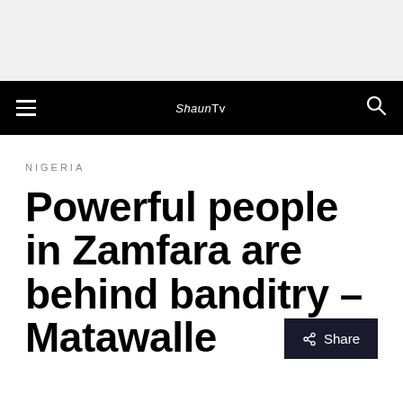Shaun TV
NIGERIA
Powerful people in Zamfara are behind banditry – Matawalle